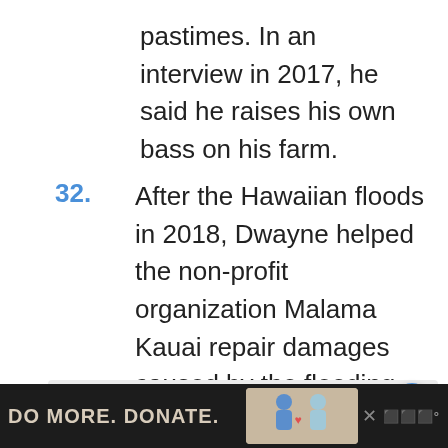pastimes. In an interview in 2017, he said he raises his own bass on his farm.
32. After the Hawaiian floods in 2018, Dwayne helped the non-profit organization Malama Kauai repair damages caused by the flooding.
[Figure (other): Gray advertisement placeholder box with floating action buttons (heart/like and share) on the right side]
[Figure (other): Bottom banner advertisement: dark background with text 'DO MORE. DONATE.' and an illustration of two figures, close button, and Bing logo]